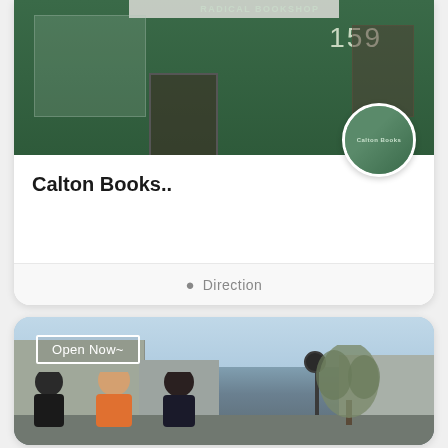[Figure (photo): Photo of Calton Books storefront - a green-painted radical bookshop at number 159, with a circular profile photo thumbnail in the bottom right corner]
Calton Books..
Direction
[Figure (photo): Street photo showing a city scene with buildings, a lamp post, trees, and people in the foreground. An 'Open Now~' badge is overlaid in the top left corner.]